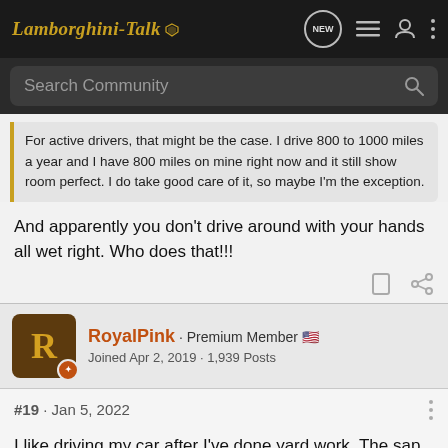Lamborghini-Talk
Search Community
For active drivers, that might be the case. I drive 800 to 1000 miles a year and I have 800 miles on mine right now and it still show room perfect. I do take good care of it, so maybe I'm the exception.
And apparently you don't drive around with your hands all wet right. Who does that!!!
RoyalPink · Premium Member 🇺🇸
Joined Apr 2, 2019 · 1,939 Posts
#19 · Jan 5, 2022
I like driving my car after I've done yard work. The sap on my